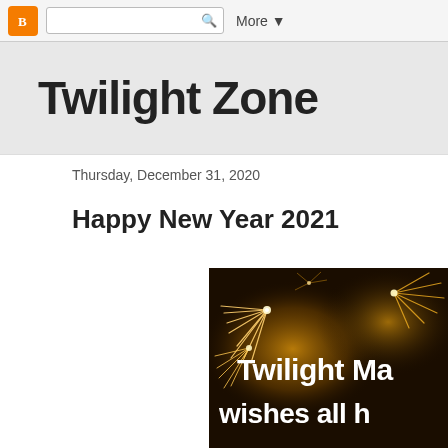Blogger navigation bar with search and More button
Twilight Zone
Thursday, December 31, 2020
Happy New Year 2021
[Figure (photo): Fireworks on dark background with text 'Twilight Ma... wishes all h...' visible, New Year celebration image]